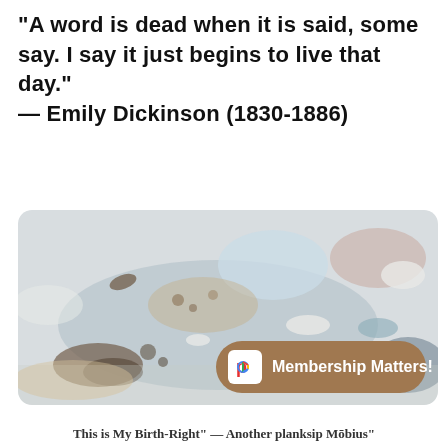“A word is dead when it is said, some say. I say it just begins to live that day.”
— Emily Dickinson (1830-1886)
[Figure (illustration): Watercolor abstract image with soft blue-grey, beige, brown, and muted pink tones, resembling an aerial or abstract landscape]
This is My Birth-Right” — Another planksip Mōbius”